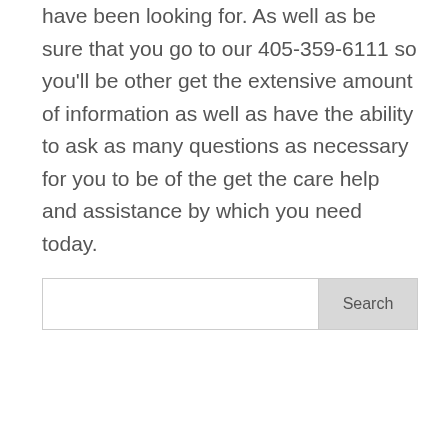have been looking for. As well as be sure that you go to our 405-359-6111 so you'll be other get the extensive amount of information as well as have the ability to ask as many questions as necessary for you to be of the get the care help and assistance by which you need today.
Search